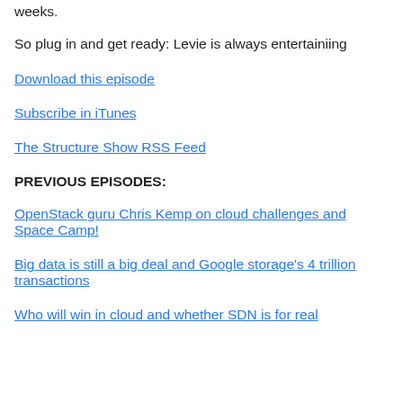weeks.
So plug in and get ready: Levie is always entertainiing
Download this episode
Subscribe in iTunes
The Structure Show RSS Feed
PREVIOUS EPISODES:
OpenStack guru Chris Kemp on cloud challenges and Space Camp!
Big data is still a big deal and Google storage's 4 trillion transactions
Who will win in cloud and whether SDN is for real